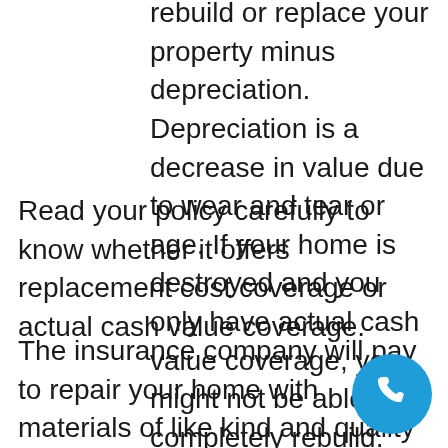rebuild or replace your property minus depreciation. Depreciation is a decrease in value due to wear and tear or age. If your home is destroyed and you only have actual cash value coverage, you might not be able to completely rebuild.
Read your policy carefully to know whether it offers replacement cost coverage or actual cash value coverage.
The insurance company will pay to repair your home with materials of like kind and quality to the original. For example, if the carpet was damaged, the insurance company will pay to replace the damaged carpet with a carpet of a similar grade and quality. If you choose to upgrade the carpet or change the type of flooring, you will have to pay the extra costs
[Figure (other): Blue circular phone/call button icon in the bottom right corner]